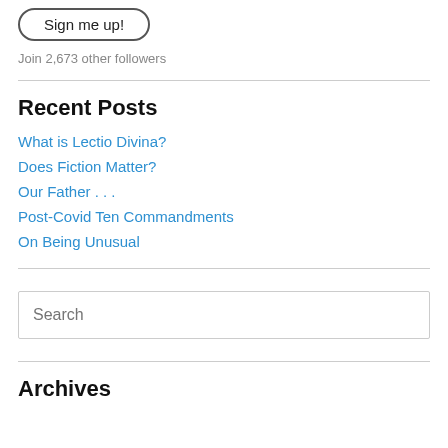[Figure (other): Sign me up! button with rounded border]
Join 2,673 other followers
Recent Posts
What is Lectio Divina?
Does Fiction Matter?
Our Father . . .
Post-Covid Ten Commandments
On Being Unusual
[Figure (other): Search input box with placeholder text 'Search']
Archives